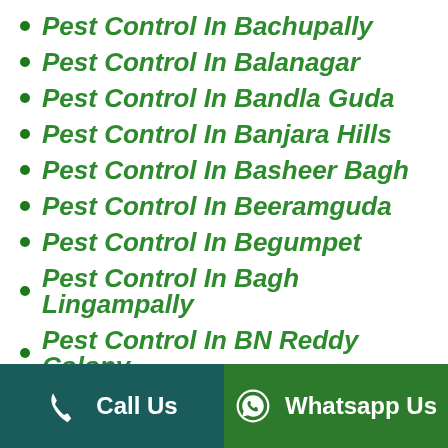Pest Control In Bachupally
Pest Control In Balanagar
Pest Control In Bandla Guda
Pest Control In Banjara Hills
Pest Control In Basheer Bagh
Pest Control In Beeramguda
Pest Control In Begumpet
Pest Control In Bagh Lingampally
Pest Control In BN Reddy Colony
Pest Control In Bollaram
Call Us | Whatsapp Us